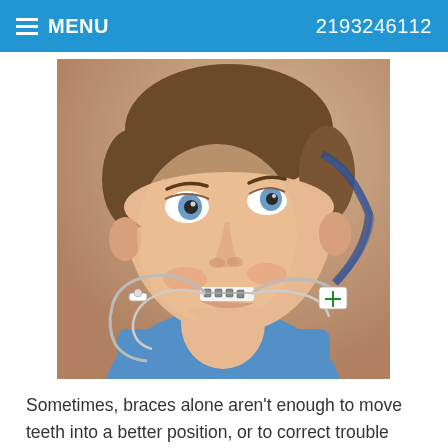≡ MENU  2193246112
[Figure (photo): A young boy with short brown hair and blue eyes wearing a blue shirt, smiling, with orthodontic braces and a metal headgear appliance attached to his teeth, extending to a strap near his ear.]
Sometimes, braces alone aren't enough to move teeth into a better position, or to correct trouble with the bite or remedy problems in the growth of the